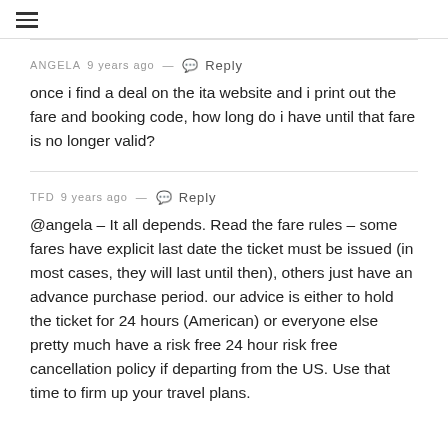≡
ANGELA 9 years ago — Reply
once i find a deal on the ita website and i print out the fare and booking code, how long do i have until that fare is no longer valid?
TFD 9 years ago — Reply
@angela – It all depends. Read the fare rules – some fares have explicit last date the ticket must be issued (in most cases, they will last until then), others just have an advance purchase period. our advice is either to hold the ticket for 24 hours (American) or everyone else pretty much have a risk free 24 hour risk free cancellation policy if departing from the US. Use that time to firm up your travel plans.